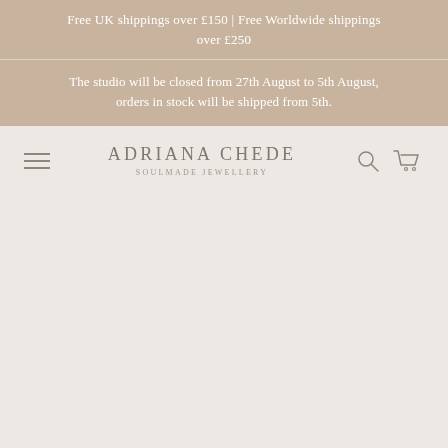Free UK shippings over £150 | Free Worldwide shippings over £250
The studio will be closed from 27th August to 5th August, orders in stock will be shipped from 5th.
ADRIANA CHEDE
SOULMADE JEWELLERY